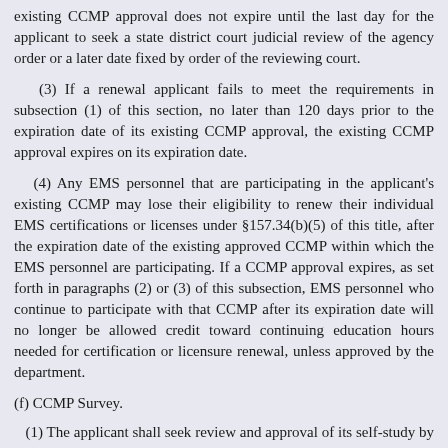existing CCMP approval does not expire until the last day for the applicant to seek a state district court judicial review of the agency order or a later date fixed by order of the reviewing court.
(3) If a renewal applicant fails to meet the requirements in subsection (1) of this section, no later than 120 days prior to the expiration date of its existing CCMP approval, the existing CCMP approval expires on its expiration date.
(4) Any EMS personnel that are participating in the applicant's existing CCMP may lose their eligibility to renew their individual EMS certifications or licenses under §157.34(b)(5) of this title, after the expiration date of the existing approved CCMP within which the EMS personnel are participating. If a CCMP approval expires, as set forth in paragraphs (2) or (3) of this subsection, EMS personnel who continue to participate with that CCMP after its expiration date will no longer be allowed credit toward continuing education hours needed for certification or licensure renewal, unless approved by the department.
(f) CCMP Survey.
(1) The applicant shall seek review and approval of its self-study by a department recognized CCMP survey organization.
(2) The applicant shall notify the department of the date the